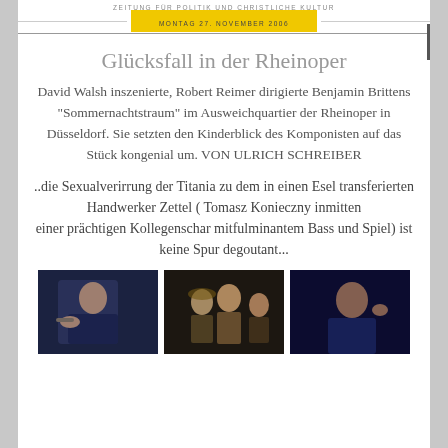ZEITUNG FÜR POLITIK UND CHRISTLICHE KULTUR
MONTAG 27. NOVEMBER 2006
Glücksfall in der Rheinoper
David Walsh inszenierte, Robert Reimer dirigierte Benjamin Brittens „Sommernachtstraum“ im Ausweichquartier der Rheinoper in Düsseldorf. Sie setzten den Kinderblick des Komponisten auf das Stück kongenial um. VON ULRICH SCHREIBER
..die Sexualverirrung der Titania zu dem in einen Esel transferierten Handwerker Zettel ( Tomasz Konieczny inmitten
einer prächtigen Kollegenschar mitfulminantem Bass und Spiel) ist keine Spur degoutant...
[Figure (photo): Three theater performance photos from the Rheinoper production, showing performers on stage in dark lighting.]